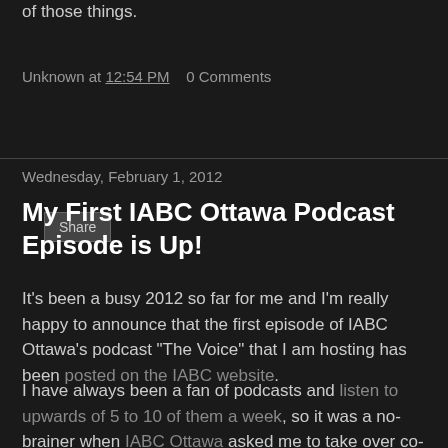of those things.
Unknown at 12:54 PM   0 Comments
Share
Wednesday, February 1, 2012
My First IABC Ottawa Podcast Episode is Up!
It's been a busy 2012 so far for me and I'm really happy to announce that the first episode of IABC Ottawa's podcast "The Voice" that I am hosting has been posted on the IABC website.
I have always been a fan of podcasts and listen to upwards of 5 to 10 of them a week, so it was a no-brainer when IABC Ottawa asked me to take over co-hosting duties from Jud Rasmussen who didn't have time to give it the attention it deserved.  Jud is a close family friend of mine and I wanted